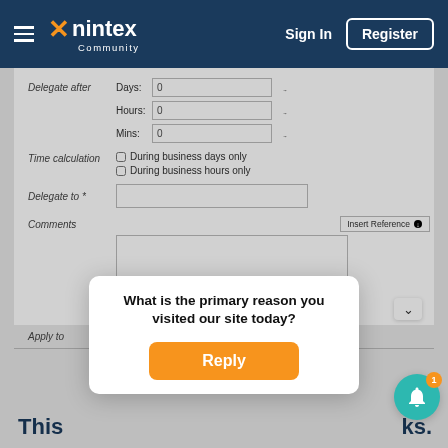[Figure (screenshot): Nintex Community website header with logo, Sign In and Register buttons]
Delegate after
Days: 0
Hours: 0
Mins: 0
Time calculation
During business days only
During business hours only
Delegate to *
Comments
Insert Reference
Apply to
What is the primary reason you visited our site today?
Reply
This
ks.